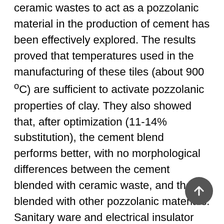ceramic wastes to act as a pozzolanic material in the production of cement has been effectively explored. The results proved that temperatures used in the manufacturing of these tiles (about 900 °C) are sufficient to activate pozzolanic properties of clay. They also showed that, after optimization (11-14% substitution), the cement blend performs better, with no morphological differences between the cement blended with ceramic waste, and that blended with other pozzolanic materials. Sanitary ware and electrical insulator porcelain wastes are some wastes investigated for usage as aggregates in concrete production. When optimized, both produced good results, better than when natural aggregates are used. However, the research on ceramic wastes as partial substitute for fine aggregates or cement has not been overly exploited as the other areas. This review has been concluded with focus on investigating whether